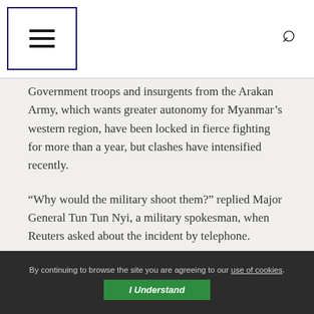Navigation menu and search icon header
Government troops and insurgents from the Arakan Army, which wants greater autonomy for Myanmar’s western region, have been locked in fierce fighting for more than a year, but clashes have intensified recently.
“Why would the military shoot them?” replied Major General Tun Tun Nyi, a military spokesman, when Reuters asked about the incident by telephone.
“They are working for us, for our country. We have the responsibility for that… Everyone who has a brain knows that. If you are a Myanmar citizen, you shouldn’t ask that.”
By continuing to browse the site you are agreeing to our use of cookies. I Understand